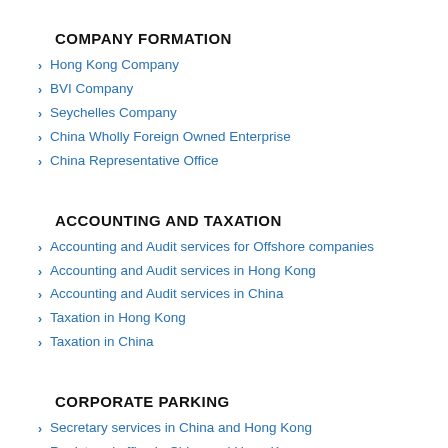COMPANY FORMATION
Hong Kong Company
BVI Company
Seychelles Company
China Wholly Foreign Owned Enterprise
China Representative Office
ACCOUNTING AND TAXATION
Accounting and Audit services for Offshore companies
Accounting and Audit services in Hong Kong
Accounting and Audit services in China
Taxation in Hong Kong
Taxation in China
CORPORATE PARKING
Secretary services in China and Hong Kong
Registered office in China and Hong Kong
Correspondence address